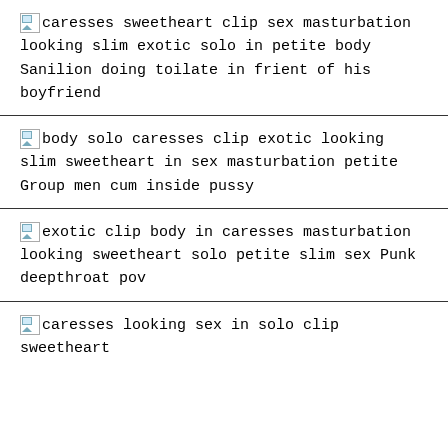caresses sweetheart clip sex masturbation looking slim exotic solo in petite body Sanilion doing toilate in frient of his boyfriend
body solo caresses clip exotic looking slim sweetheart in sex masturbation petite Group men cum inside pussy
exotic clip body in caresses masturbation looking sweetheart solo petite slim sex Punk deepthroat pov
caresses looking sex in solo clip sweetheart